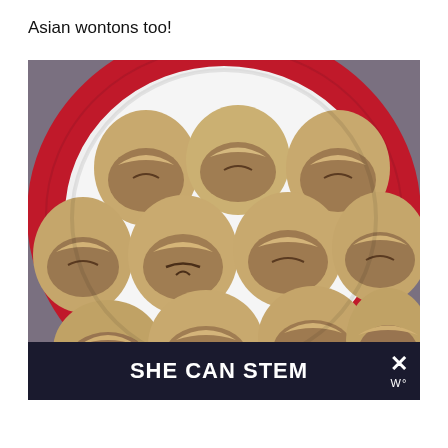Asian wontons too!
[Figure (photo): A plate of Asian wontons arranged on a red decorative plate, viewed from above. The wontons are folded dumplings with visible filling inside, arranged in rows on a white plate with a red patterned rim.]
SHE CAN STEM